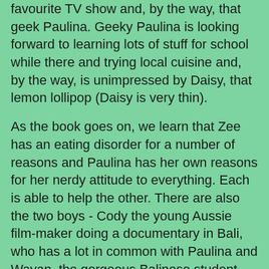favourite TV show and, by the way, that geek Paulina. Geeky Paulina is looking forward to learning lots of stuff for school while there and trying local cuisine and, by the way, is unimpressed by Daisy, that lemon lollipop (Daisy is very thin).
As the book goes on, we learn that Zee has an eating disorder for a number of reasons and Paulina has her own reasons for her nerdy attitude to everything. Each is able to help the other. There are also the two boys - Cody the young Aussie film-maker doing a documentary in Bali, who has a lot in common with Paulina and Wayan, the gorgeous Balinese student who works part time as a waiter and is dreaming of becoming a volunteer doctor in East Timor. Will something come from this or are they just holiday romances? Are they romances at all? Read and find out.
It's funny and genlte and easy reading, broken up into diary entries. The message bewhind it is perhaps a little too obvious, but I suspect that this won't be as obvious to this book's natural readers.
This series has proven very popular in my library, both